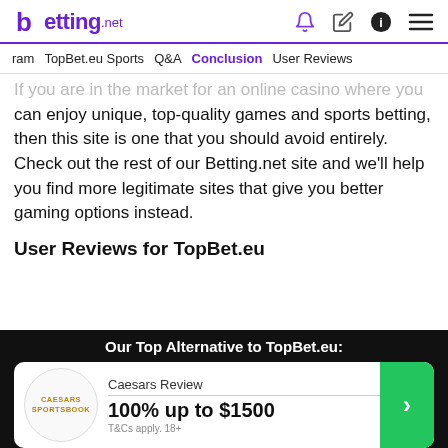betting.net — navigation icons
ram | TopBet.eu Sports | Q&A | Conclusion | User Reviews
If you are in the market for an online casino where you can enjoy unique, top-quality games and sports betting, then this site is one that you should avoid entirely. Check out the rest of our Betting.net site and we'll help you find more legitimate sites that give you better gaming options instead.
User Reviews for TopBet.eu
Our Top Alternative to TopBet.eu: Caesars Review 100% up to $1500 T&Cs apply. 18+